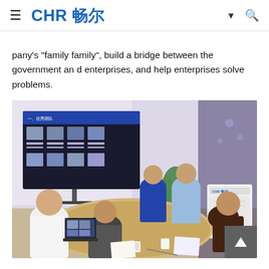CHR 畅尔
pany's "family family", build a bridge between the government and enterprises, and help enterprises solve problems.
[Figure (photo): A business meeting in an office room. Several people are seated around a conference table. A large screen at the front displays a Chinese-language presentation with photos. A laptop is open on the table, and a plant and branded equipment are visible in the background.]